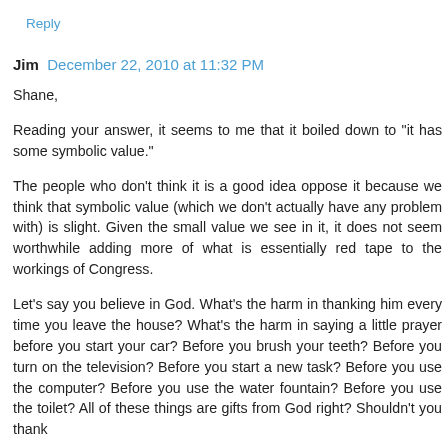Reply
Jim  December 22, 2010 at 11:32 PM
Shane,
Reading your answer, it seems to me that it boiled down to "it has some symbolic value."
The people who don't think it is a good idea oppose it because we think that symbolic value (which we don't actually have any problem with) is slight. Given the small value we see in it, it does not seem worthwhile adding more of what is essentially red tape to the workings of Congress.
Let's say you believe in God. What's the harm in thanking him every time you leave the house? What's the harm in saying a little prayer before you start your car? Before you brush your teeth? Before you turn on the television? Before you start a new task? Before you use the computer? Before you use the water fountain? Before you use the toilet? All of these things are gifts from God right? Shouldn't you thank